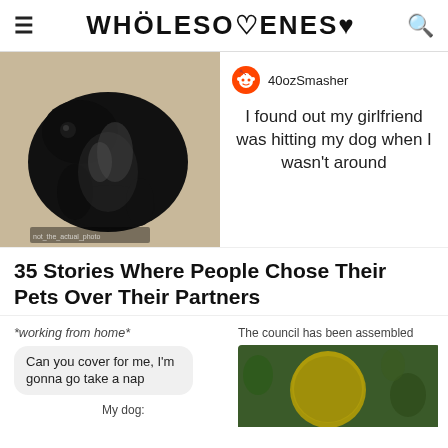WHOLESOMENESS
[Figure (photo): Black dog curled up on a beige carpet, wet or oily coat, looking at camera]
40ozSmasher
I found out my girlfriend was hitting my dog when I wasn't around
35 Stories Where People Chose Their Pets Over Their Partners
*working from home*
Can you cover for me, I'm gonna go take a nap
My dog:
The council has been assembled
[Figure (photo): Large yellow/olive colored round object (possibly a tortoise or frog) with plants in background]